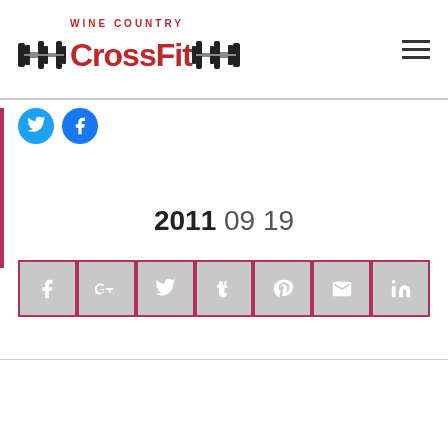[Figure (logo): Wine Country CrossFit logo with barbell graphic and red text]
[Figure (infographic): Twitter and Facebook circular share buttons]
2011 09 19
[Figure (infographic): Social share buttons: Facebook, Google+, Twitter, Tumblr, Pinterest, Email, LinkedIn]